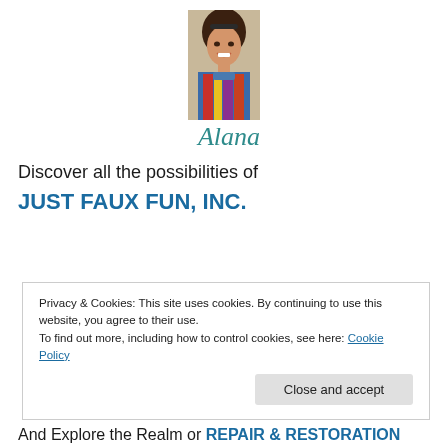[Figure (photo): Portrait photo of a smiling woman with dark hair, wearing a colorful scarf and blue jacket, with a script signature 'Alana' below the photo in teal cursive]
Discover all the possibilities of
JUST FAUX FUN, INC.
Privacy & Cookies: This site uses cookies. By continuing to use this website, you agree to their use.
To find out more, including how to control cookies, see here: Cookie Policy
Close and accept
And Explore the Realm or REPAIR & RESTORATION